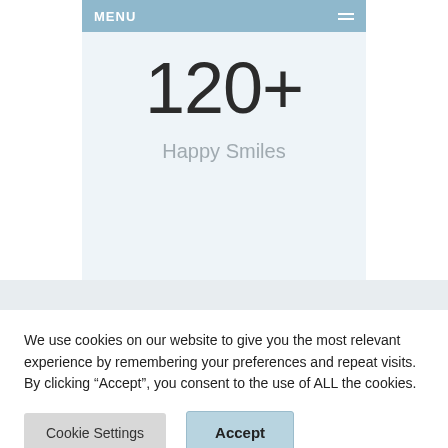[Figure (screenshot): Website screenshot showing a navigation menu bar with 'MENU' text and a stat counter displaying '120+' with label 'Happy Smiles' on a light blue background]
We use cookies on our website to give you the most relevant experience by remembering your preferences and repeat visits. By clicking “Accept”, you consent to the use of ALL the cookies.
Cookie Settings | Accept